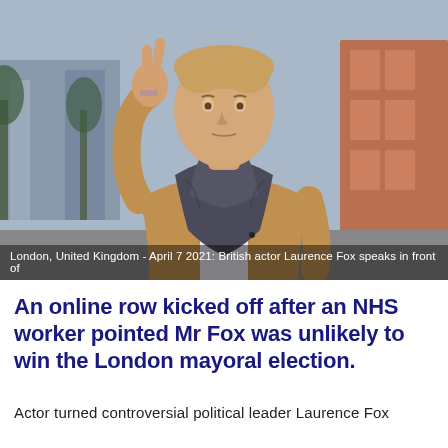[Figure (photo): Photo of British actor Laurence Fox making a peace/victory sign with his hand, wearing a tan coat and dark grey scarf, standing outdoors in London with blurred buildings in the background.]
London, United Kingdom - April 7 2021: British actor Laurence Fox speaks in front of
An online row kicked off after an NHS worker pointed Mr Fox was unlikely to win the London mayoral election.
Actor turned controversial political leader Laurence Fox has sparked an online row after an NHS worker pointed...